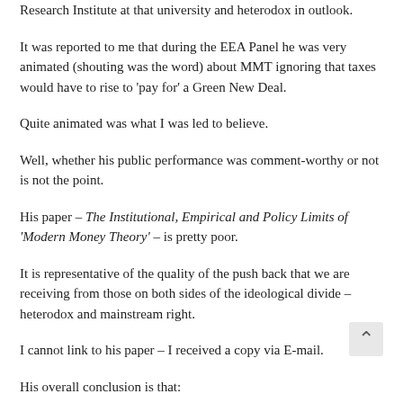Research Institute at that university and heterodox in outlook.
It was reported to me that during the EEA Panel he was very animated (shouting was the word) about MMT ignoring that taxes would have to rise to 'pay for' a Green New Deal.
Quite animated was what I was led to believe.
Well, whether his public performance was comment-worthy or not is not the point.
His paper – The Institutional, Empirical and Policy Limits of 'Modern Money Theory' – is pretty poor.
It is representative of the quality of the push back that we are receiving from those on both sides of the ideological divide – heterodox and mainstream right.
I cannot link to his paper – I received a copy via E-mail.
His overall conclusion is that: